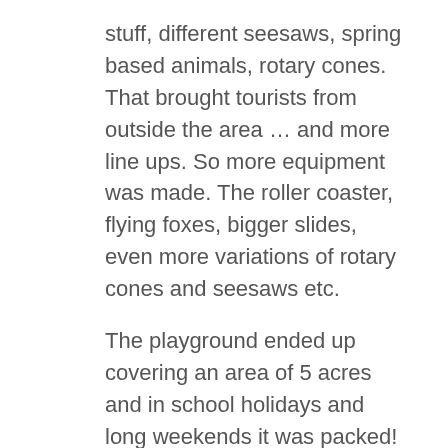stuff, different seesaws, spring based animals, rotary cones. That brought tourists from outside the area … and more line ups. So more equipment was made. The roller coaster, flying foxes, bigger slides, even more variations of rotary cones and seesaws etc.
The playground ended up covering an area of 5 acres and in school holidays and long weekends it was packed! Delighted squealing from kids and adults filled the air. It was free to enter and open 24 hrs, 7 days per week, 365 days per year (even xmas day).
Yes – a few nothing-type insurance claims spoilt it for hundreds of thousands of people. The few claims were pathetic but then the insurance company got nervous and refused to renew the insurance cover. That put Dad at great risk. Too bad that he'd provided such an awesome